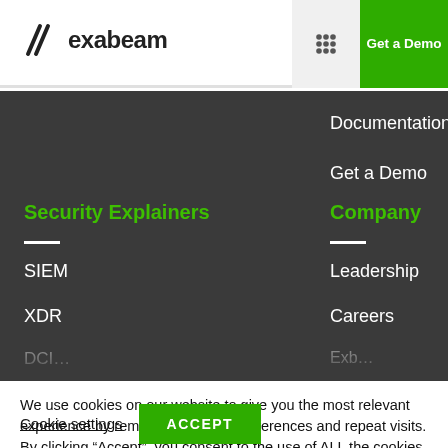[Figure (logo): Exabeam logo with stylized slash icon and wordmark]
Get a Demo
Documentation
Get a Demo
Security Explainers
Company
SIEM
XDR
Leadership
Careers
We use cookies on our website to give you the most relevant experience by remembering your preferences and repeat visits. By clicking “Accept”, you consent to the use of ALL the cookies.
Cookie settings
ACCEPT